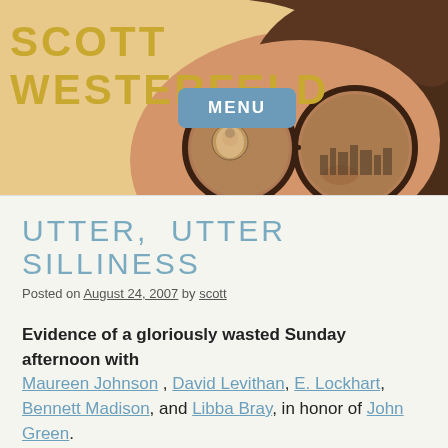SCOTT WESTERFELD
[Figure (illustration): Illustrated face of a girl with large round sunglasses reflecting a city skyline, brown hair, on a warm beige/tan background. A MENU button overlay in teal/blue.]
UTTER, UTTER SILLINESS
Posted on August 24, 2007 by scott
Evidence of a gloriously wasted Sunday afternoon with Maureen Johnson , David Levithan, E. Lockhart, Bennett Madison, and Libba Bray, in honor of John Green.